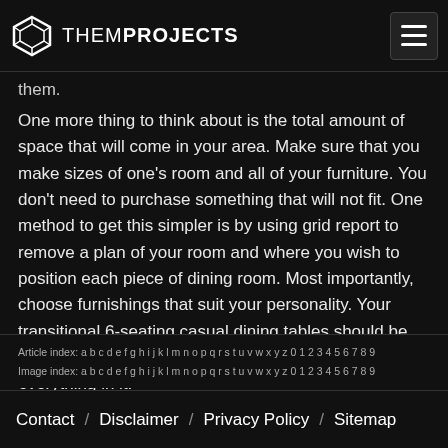THEMPROJECTS
them.
One more thing to think about is the total amount of space that will come in your area. Make sure that you make sizes of one's room and all of your furniture. You don't need to purchase something that will not fit. One method to get this simpler is by using grid report to remove a plan of your room and where you wish to position each piece of dining room. Most importantly, choose furnishings that suit your personality. Your transitional 6-seating casual dining tables should be haven for you personally, so be sure you adore everything in it.
Article index: a b c d e f g h i j k l m n o p q r s t u v w x y z 0 1 2 3 4 5 6 7 8 9
Image index: a b c d e f g h i j k l m n o p q r s t u v w x y z 0 1 2 3 4 5 6 7 8 9
Contact / Disclaimer / Privacy Policy / Sitemap